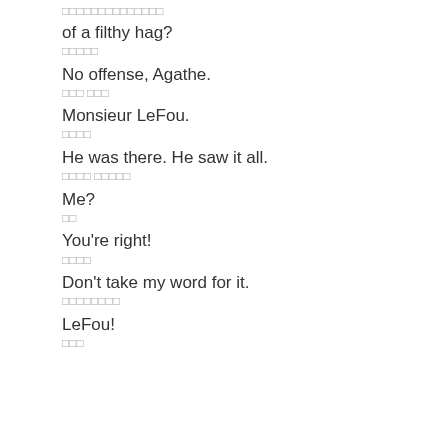□□□□□□□□□□□□□□
of a filthy hag?
□□□□□
No offense, Agathe.
□□□ □□□
Monsieur LeFou.
□□□□
He was there. He saw it all.
□□□□ □□□□□
Me?
□□
You're right!
□□□□
Don't take my word for it.
□□□□□□□□
LeFou!
□□□